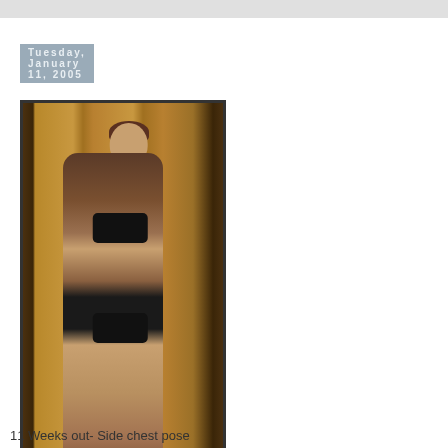Tuesday, January 11, 2005
[Figure (photo): A woman in a black bikini posing in a side chest pose in front of a wooden door. She is muscular and smiling, with short brown hair.]
11 Weeks out- Side chest pose